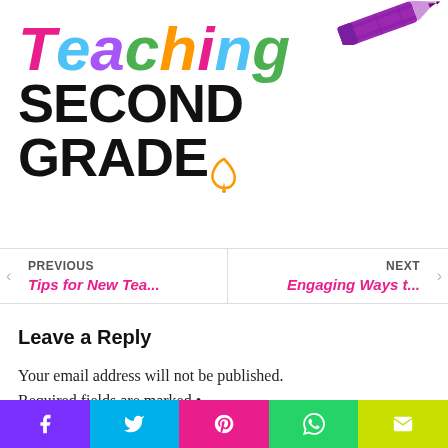[Figure (logo): Teaching Second Grade logo with colorful lettering and purple crayon illustration]
PREVIOUS
Tips for New Tea...
NEXT
Engaging Ways t...
Leave a Reply
Your email address will not be published. Required fields are marked •
[Figure (infographic): Social share bar with Facebook, Twitter, Pinterest, WhatsApp, and Email buttons]